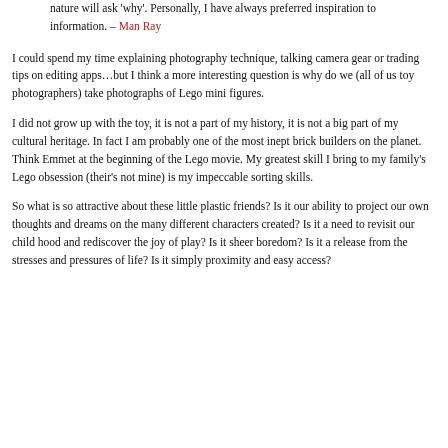nature will ask 'why'. Personally, I have always preferred inspiration to information. – Man Ray
I could spend my time explaining photography technique, talking camera gear or trading tips on editing apps…but I think a more interesting question is why do we (all of us toy photographers) take photographs of Lego mini figures.
I did not grow up with the toy, it is not a part of my history, it is not a big part of my cultural heritage. In fact I am probably one of the most inept brick builders on the planet. Think Emmet at the beginning of the Lego movie. My greatest skill I bring to my family's Lego obsession (their's not mine) is my impeccable sorting skills.
So what is so attractive about these little plastic friends? Is it our ability to project our own thoughts and dreams on the many different characters created? Is it a need to revisit our child hood and rediscover the joy of play? Is it sheer boredom? Is it a release from the stresses and pressures of life? Is it simply proximity and easy access?